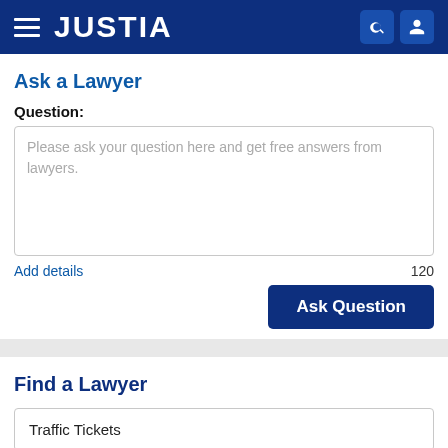JUSTIA
Ask a Lawyer
Question:
Please ask your question here and get free answers from lawyers.
Add details
120
Ask Question
Find a Lawyer
Traffic Tickets
Delaware
Search